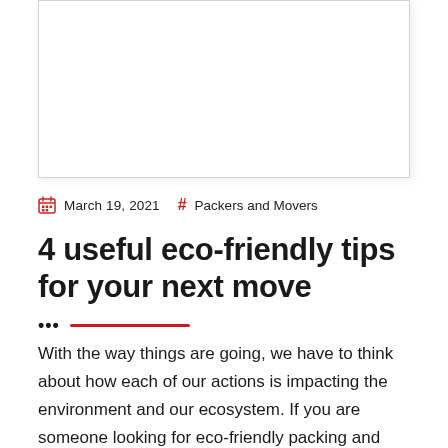[Figure (photo): Placeholder image box at the top of the blog post page]
March 19, 2021   #  Packers and Movers
4 useful eco-friendly tips for your next move
With the way things are going, we have to think about how each of our actions is impacting the environment and our ecosystem. If you are someone looking for eco-friendly packing and